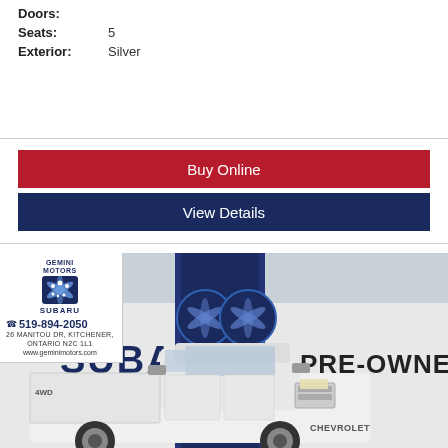Doors:
Seats: 5
Exterior: Silver
Buy Online
View Details
[Figure (photo): Gemini Motors Subaru dealership exterior with a white Chevrolet pickup truck parked in front. The building shows SUBARU and PRE-OWNED signage. Dealer info overlay in top-left corner shows phone 519-894-2050, address 26 Manitou Dr, Kitchener, Ontario N2C 1L1, and www.geminimotors.com]